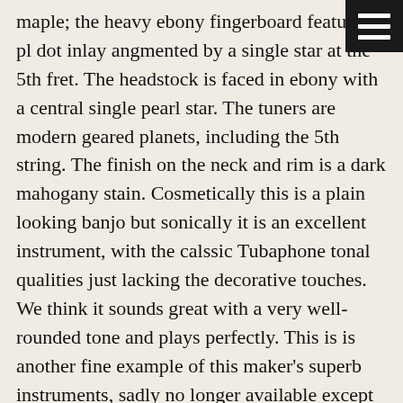maple; the heavy ebony fingerboard features pl dot inlay angmented by a single star at the 5th fret. The headstock is faced in ebony with a central single pearl star. The tuners are modern geared planets, including the 5th string. The finish on the neck and rim is a dark mahogany stain. Cosmetically this is a plain looking banjo but sonically it is an excellent instrument, with the calssic Tubaphone tonal qualities just lacking the decorative touches. We think it sounds great with a very well-rounded tone and plays perfectly. This is is another fine example of this maker's superb instruments, sadly no longer available except as used pieces.
Overall length is 37 1/4 in. (94.6 cm.), 11 1/8 in. (28.3 cm.) diameter head, and 3 in. (7.6 cm.) in depth, measured at side of rim. Scale length is 26 1/4 in. (667 mm.). Width of nut is 1 1/4 in. (32